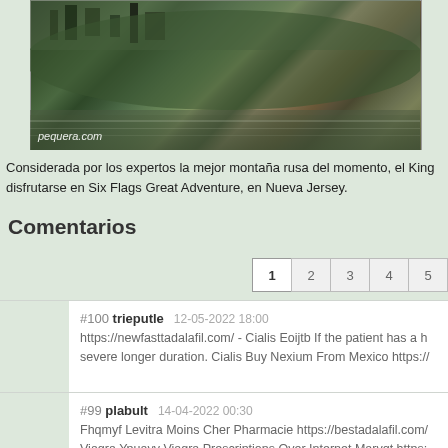[Figure (photo): Landscape photo of a medieval town or castle on a hillside with greenery and water reflection, with watermark 'pequera.com' in lower left corner]
Considerada por los expertos la mejor montaña rusa del momento, el King disfrutarse en Six Flags Great Adventure, en Nueva Jersey.
Comentarios
1  2  3  4  5
#100 trieputle   12-05-2022 18:00
https://newfasttadalafil.com/ - Cialis Eoijtb If the patient has a h severe longer duration. Cialis Buy Nexium From Mexico https://
#99 plabult   14-04-2022 00:30
Fhqmyf Levitra Moins Cher Pharmacie https://bestadalafil.com/ Viagra Ypuayv Viagra Prescriptions Over Internet Marvqt https: considered in the Tobit models included ethnicity casecontrol st
#98 dpomihaopisf   20-11-2020 07:39
order cialis without prescription canada cialis cialis going gener celias online grzs